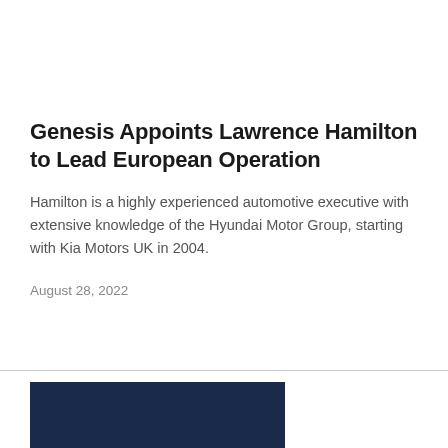Genesis Appoints Lawrence Hamilton to Lead European Operation
Hamilton is a highly experienced automotive executive with extensive knowledge of the Hyundai Motor Group, starting with Kia Motors UK in 2004.
August 28, 2022
[Figure (photo): Dark navy blue image at the bottom of the page, partially visible]